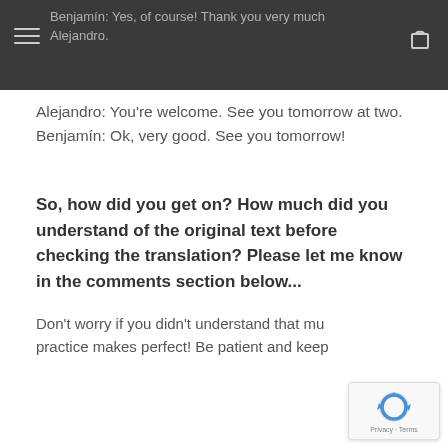Benjamín: Yes, of course! Thank you very much Alejandro.
Alejandro: You're welcome. See you tomorrow at two.
Benjamín: Ok, very good. See you tomorrow!
So, how did you get on? How much did you understand of the original text before checking the translation? Please let me know in the comments section below...
Don't worry if you didn't understand that much, practice makes perfect! Be patient and keep